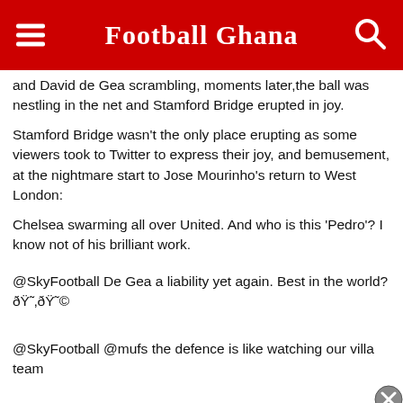Football Ghana
and David de Gea scrambling, moments later,the ball was nestling in the net and Stamford Bridge erupted in joy.
Stamford Bridge wasn't the only place erupting as some viewers took to Twitter to express their joy, and bemusement, at the nightmare start to Jose Mourinho's return to West London:
Chelsea swarming all over United. And who is this 'Pedro'? I know not of his brilliant work.
@SkyFootball De Gea a liability yet again. Best in the world? 😂😂©
@SkyFootball @mufs the defence is like watching our villa team